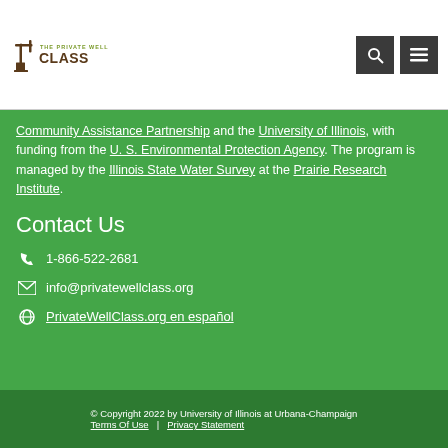The Private Well Class
Community Assistance Partnership and the University of Illinois, with funding from the U. S. Environmental Protection Agency. The program is managed by the Illinois State Water Survey at the Prairie Research Institute.
Contact Us
1-866-522-2681
info@privatewellclass.org
PrivateWellClass.org en español
© Copyright 2022 by University of Illinois at Urbana-Champaign  Terms Of Use  |  Privacy Statement